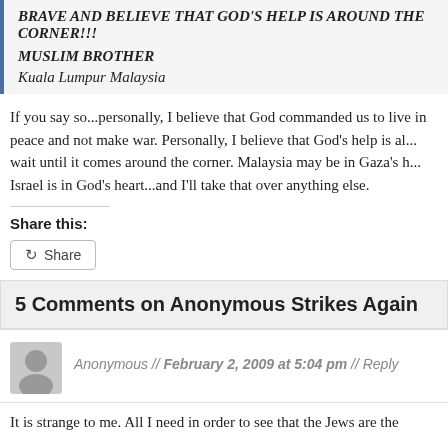BRAVE AND BELIEVE THAT GOD'S HELP IS AROUND THE CORNER!!! MUSLIM BROTHER
Kuala Lumpur Malaysia
If you say so...personally, I believe that God commanded us to live in peace and not make war. Personally, I believe that God's help is al... wait until it comes around the corner. Malaysia may be in Gaza's h... Israel is in God's heart...and I'll take that over anything else.
Share this:
5 Comments on Anonymous Strikes Again
Anonymous // February 2, 2009 at 5:04 pm // Reply
It is strange to me. All I need in order to see that the Jews are the